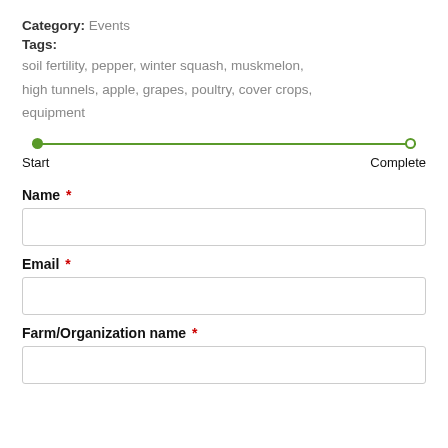Category: Events
Tags:
soil fertility, pepper, winter squash, muskmelon,
high tunnels, apple, grapes, poultry, cover crops,
equipment
[Figure (infographic): A horizontal progress bar with a filled green circle on the left (Start) and an unfilled circle on the right (Complete), connected by a green line.]
Name *
Email *
Farm/Organization name *